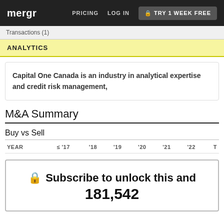mergr | PRICING | LOG IN | TRY 1 WEEK FREE
Transactions (1)
ANALYTICS
Capital One Canada is an industry in analytical expertise and credit risk management,
M&A Summary
Buy vs Sell
| YEAR | ≤ '17 | '18 | '19 | '20 | '21 | '22 | T |
| --- | --- | --- | --- | --- | --- | --- | --- |
🔒 Subscribe to unlock this and 181,542